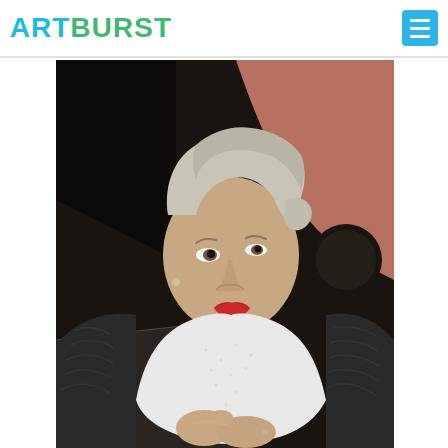ARTBURST
[Figure (photo): A woman with silver/blonde hair pulled back, wearing a dark patterned blazer with a white cowl-neck scarf, red lipstick and pearl earrings, looking to her left with hands clasped together. She appears to be on a theatrical stage with a dark background featuring abstract shapes.]